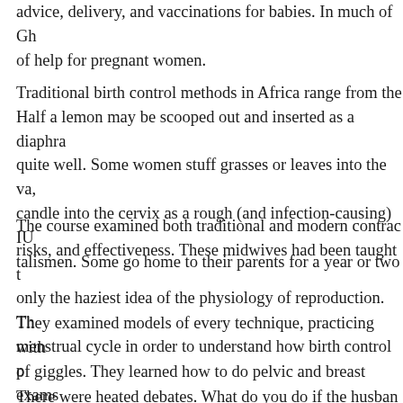advice, delivery, and vaccinations for babies. In much of Gh of help for pregnant women.
Traditional birth control methods in Africa range from the Half a lemon may be scooped out and inserted as a diaphra quite well. Some women stuff grasses or leaves into the va, candle into the cervix as a rough (and infection-causing) IU talismen. Some go home to their parents for a year or two
The course examined both traditional and modern contrac risks, and effectiveness. These midwives had been taught t only the haziest idea of the physiology of reproduction. Th menstrual cycle in order to understand how birth control p
They examined models of every technique, practicing with of giggles. They learned how to do pelvic and breast exams the most serious health problems in Africa — sexually tran
There were heated debates. What do you do if the husban